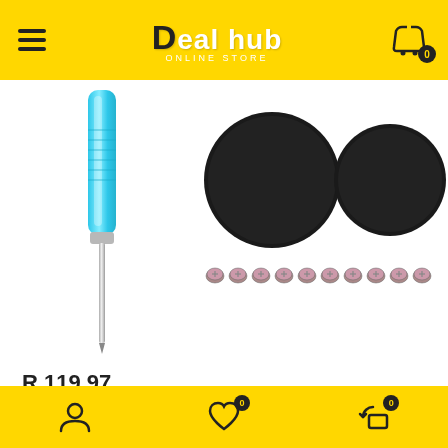Deal hub ONLINE STORE
[Figure (photo): Product image showing a cyan/blue screwdriver, two black circular rubber pads, and a row of 10 small metal screws on a white background]
R 119.97
Navigation footer with user icon, wishlist icon (badge: 0), and returns icon (badge: 0)